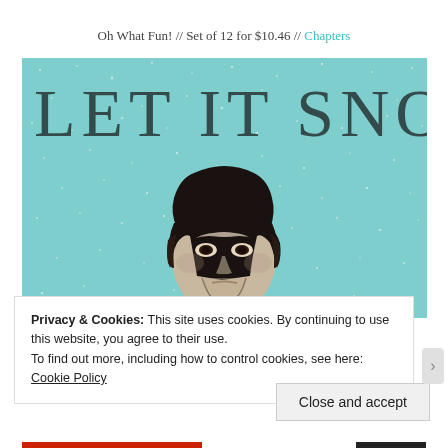Oh What Fun! // Set of 12 for $10.46 // Chapters
[Figure (illustration): Illustration of a brooding dark-haired man (Jon Snow from Game of Thrones) on a teal/mint snowy background with large text reading 'LET IT SNOW' across the top]
Privacy & Cookies: This site uses cookies. By continuing to use this website, you agree to their use.
To find out more, including how to control cookies, see here: Cookie Policy
Close and accept